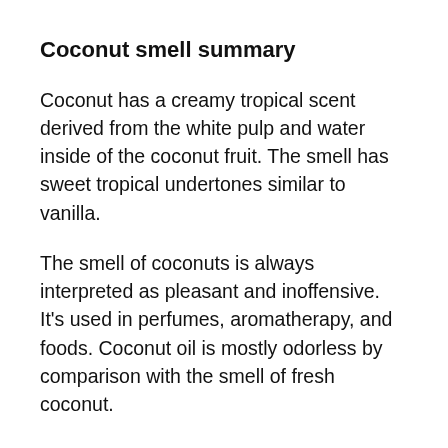Coconut smell summary
Coconut has a creamy tropical scent derived from the white pulp and water inside of the coconut fruit. The smell has sweet tropical undertones similar to vanilla.
The smell of coconuts is always interpreted as pleasant and inoffensive. It’s used in perfumes, aromatherapy, and foods. Coconut oil is mostly odorless by comparison with the smell of fresh coconut.